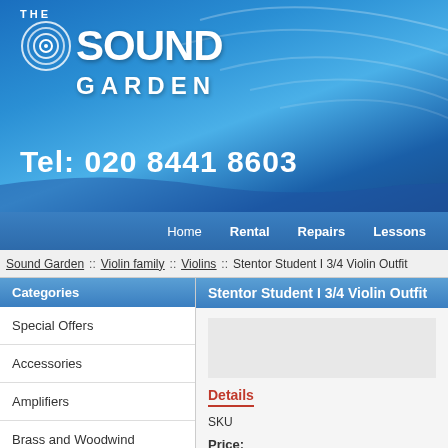[Figure (logo): The Sound Garden logo with concentric circle graphic on blue gradient banner background with decorative wave lines]
Tel: 020 8441 8603
Home  Rental  Repairs  Lessons
Sound Garden :: Violin family :: Violins :: Stentor Student I 3/4 Violin Outfit
Categories
Stentor Student I 3/4 Violin Outfit
Special Offers
Accessories
Amplifiers
Brass and Woodwind
Drums and accessories
Details
SKU
Price:
Options
Availibility: